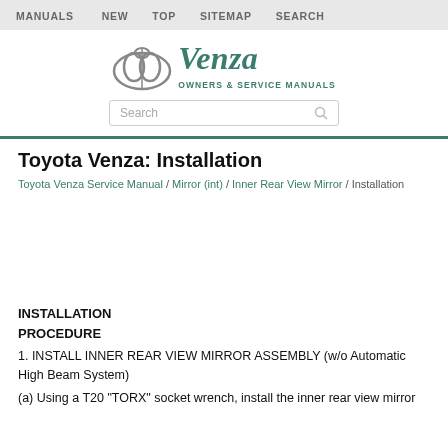MANUALS  NEW  TOP  SITEMAP  SEARCH
[Figure (logo): Toyota Venza Owners & Service Manuals logo with Toyota oval emblem and search box]
Toyota Venza: Installation
Toyota Venza Service Manual / Mirror (int) / Inner Rear View Mirror / Installation
[Figure (illustration): Empty/blank image area for installation diagram]
INSTALLATION
PROCEDURE
1. INSTALL INNER REAR VIEW MIRROR ASSEMBLY (w/o Automatic High Beam System)
(a) Using a T20 "TORX" socket wrench, install the inner rear view mirror